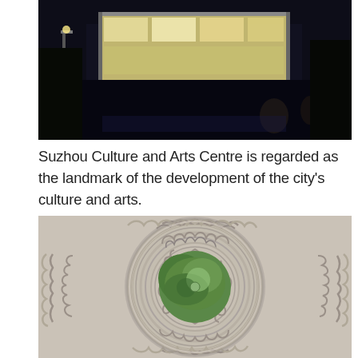[Figure (photo): Nighttime photo of Suzhou Culture and Arts Centre exterior, lit up with bright lights against a dark background. People visible in foreground.]
Suzhou Culture and Arts Centre is regarded as the landmark of the development of the city's culture and arts.
[Figure (photo): Close-up photo of a traditional Chinese circular carved stone window (moon gate) with intricate cloud scroll patterns, viewed through greenery visible in the center opening. Set in a white wall.]